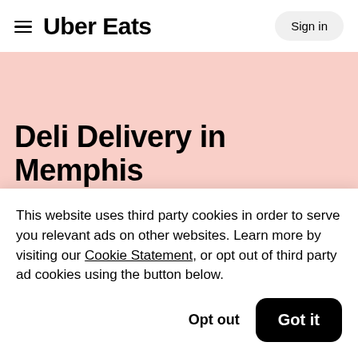≡  Uber Eats   Sign in
Deli Delivery in Memphis
This website uses third party cookies in order to serve you relevant ads on other websites. Learn more by visiting our Cookie Statement, or opt out of third party ad cookies using the button below.
Opt out   Got it